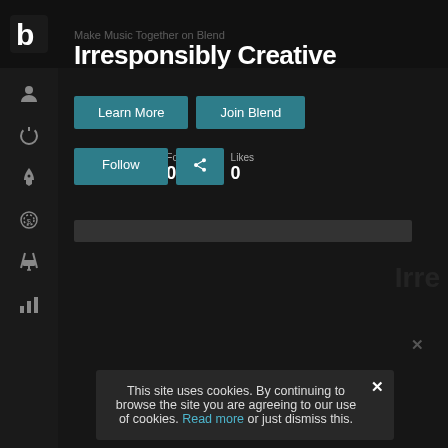[Figure (screenshot): Blend music platform web application screenshot showing dark-themed UI with sidebar navigation, profile page with 'Irresponsibly Creative' tagline, Learn More and Join Blend buttons, Follow and share buttons, stats (Projects: 2, Followers: 7, Following: 0, Likes: 0), a progress bar, and a cookie consent notification at the bottom.]